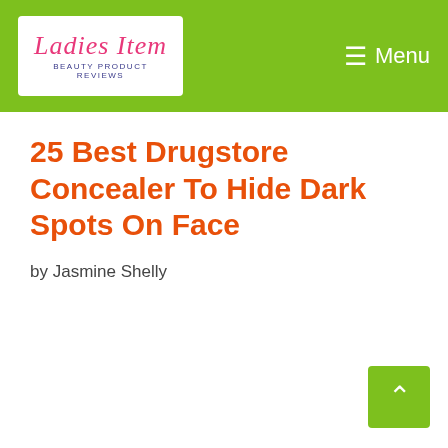Ladies Item — Beauty Product Reviews | Menu
25 Best Drugstore Concealer To Hide Dark Spots On Face
by Jasmine Shelly